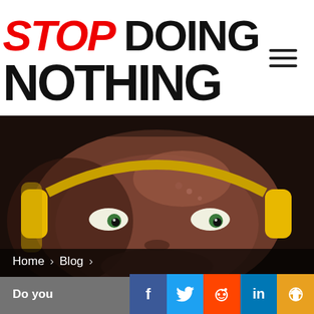STOP DOING NOTHING
[Figure (photo): Close-up of an intense male athlete with yellow headphones, sweaty face, looking directly at the camera in a dimly lit setting.]
Home > Blog >
Do you
[Figure (infographic): Social share bar with Facebook, Twitter, Reddit, LinkedIn, and share buttons]